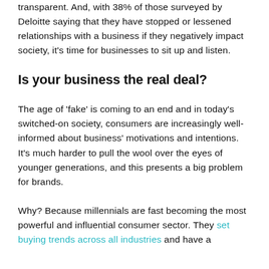transparent. And, with 38% of those surveyed by Deloitte saying that they have stopped or lessened relationships with a business if they negatively impact society, it's time for businesses to sit up and listen.
Is your business the real deal?
The age of 'fake' is coming to an end and in today's switched-on society, consumers are increasingly well-informed about business' motivations and intentions. It's much harder to pull the wool over the eyes of younger generations, and this presents a big problem for brands.
Why? Because millennials are fast becoming the most powerful and influential consumer sector. They set buying trends across all industries and have a